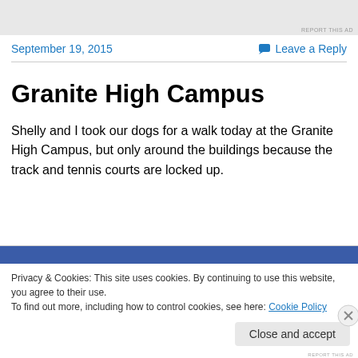[Figure (other): Advertisement banner placeholder (gray rectangle)]
REPORT THIS AD
September 19, 2015
Leave a Reply
Granite High Campus
Shelly and I took our dogs for a walk today at the Granite High Campus, but only around the buildings because the track and tennis courts are locked up.
Privacy & Cookies: This site uses cookies. By continuing to use this website, you agree to their use. To find out more, including how to control cookies, see here: Cookie Policy
Close and accept